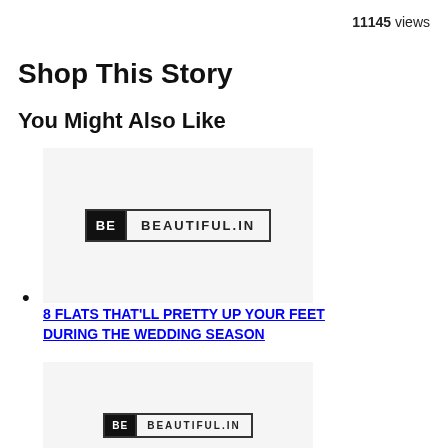11145 views
Shop This Story
You Might Also Like
[Figure (logo): BeBeautiful.in logo — black square with 'BE' in white text next to 'BEAUTIFUL.IN' in black text, bordered rectangle]
•
8 FLATS THAT'LL PRETTY UP YOUR FEET DURING THE WEDDING SEASON
[Figure (logo): BeBeautiful.in logo — partial view, same logo as above]